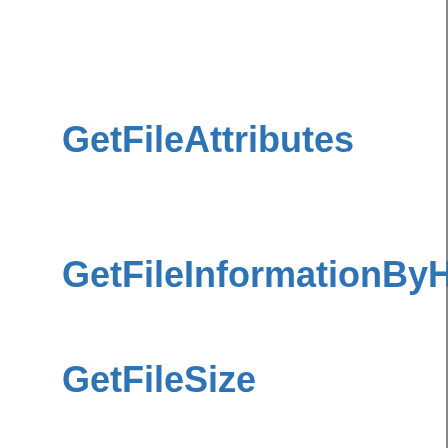GetFileAttributes
GetFileInformationByH
GetFileSize